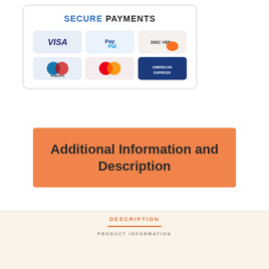[Figure (infographic): Secure Payments box showing accepted payment methods: VISA, PayPal, Discover, Maestro, MasterCard, American Express]
Additional Information and Description
DESCRIPTION
PRODUCT INFORMATION